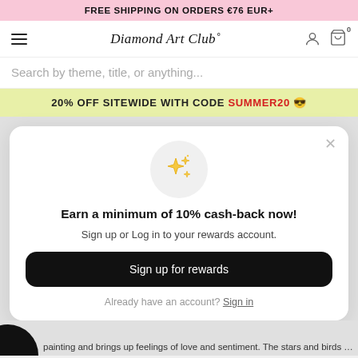FREE SHIPPING ON ORDERS €76 EUR+
[Figure (screenshot): Diamond Art Club navigation bar with hamburger menu, cursive logo, user icon, and cart icon showing 0 items]
Search by theme, title, or anything...
20% OFF SITEWIDE WITH CODE SUMMER20 😎
[Figure (illustration): Sparkle/stars emoji icon inside a light grey circle]
Earn a minimum of 10% cash-back now!
Sign up or Log in to your rewards account.
Sign up for rewards
Already have an account? Sign in
painting and brings up feelings of love and sentiment. The stars and birds remind one of the...